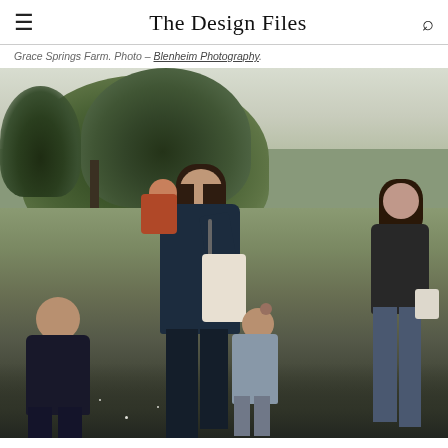The Design Files
Grace Springs Farm. Photo – Blenheim Photography.
[Figure (photo): Outdoor photo of a woman carrying a child and holding another child's hand, walking through a grassy field with trees in the background. A boy walks to the left, and another girl walks ahead to the right. The scene is at Grace Springs Farm, photographed by Blenheim Photography.]